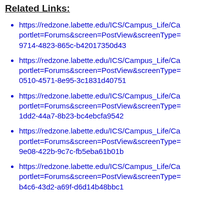Related Links:
https://redzone.labette.edu/ICS/Campus_Life/Ca portlet=Forums&screen=PostView&screenType= 9714-4823-865c-b42017350d43
https://redzone.labette.edu/ICS/Campus_Life/Ca portlet=Forums&screen=PostView&screenType= 0510-4571-8e95-3c1831d40751
https://redzone.labette.edu/ICS/Campus_Life/Ca portlet=Forums&screen=PostView&screenType= 1dd2-44a7-8b23-bc4ebcfa9542
https://redzone.labette.edu/ICS/Campus_Life/Ca portlet=Forums&screen=PostView&screenType= 9e08-422b-9c7c-fb5eba61b01b
https://redzone.labette.edu/ICS/Campus_Life/Ca portlet=Forums&screen=PostView&screenType= b4c6-43d2-a69f-d6d14b48bbc1